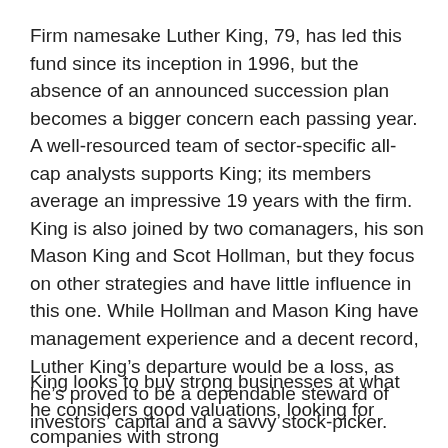Firm namesake Luther King, 79, has led this fund since its inception in 1996, but the absence of an announced succession plan becomes a bigger concern each passing year. A well-resourced team of sector-specific all-cap analysts supports King; its members average an impressive 19 years with the firm. King is also joined by two comanagers, his son Mason King and Scot Hollman, but they focus on other strategies and have little influence in this one. While Hollman and Mason King have management experience and a decent record, Luther King’s departure would be a loss, as he’s proved to be a dependable steward of investors’ capital and a savvy stock-picker.
King looks to buy strong businesses at what he considers good valuations, looking for companies with strong